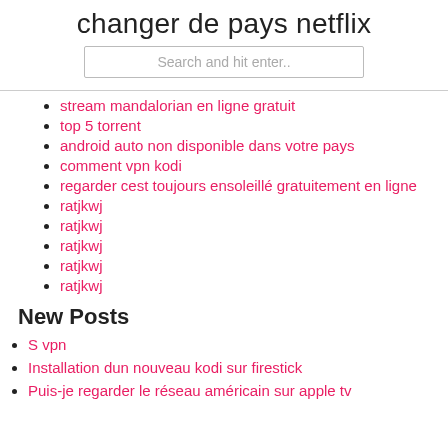changer de pays netflix
stream mandalorian en ligne gratuit
top 5 torrent
android auto non disponible dans votre pays
comment vpn kodi
regarder cest toujours ensoleillé gratuitement en ligne
ratjkwj
ratjkwj
ratjkwj
ratjkwj
ratjkwj
New Posts
S vpn
Installation dun nouveau kodi sur firestick
Puis-je regarder le réseau américain sur apple tv